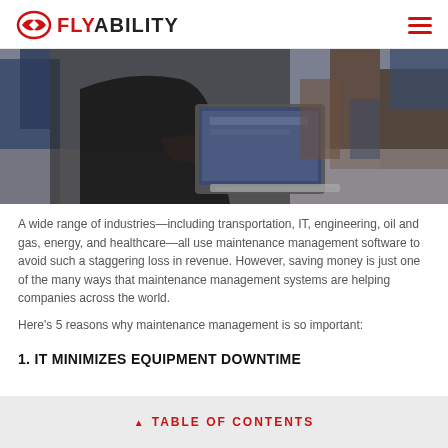FLYABILITY
[Figure (photo): Person in dark jacket holding an open laptop in an industrial facility with machinery in background]
A wide range of industries—including transportation, IT, engineering, oil and gas, energy, and healthcare—all use maintenance management software to avoid such a staggering loss in revenue. However, saving money is just one of the many ways that maintenance management systems are helping companies across the world.
Here's 5 reasons why maintenance management is so important:
1. IT MINIMIZES EQUIPMENT DOWNTIME
TABLE OF CONTENTS